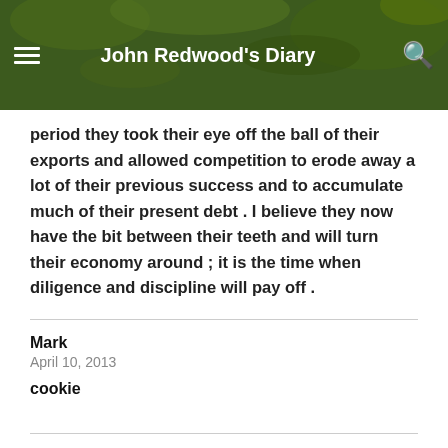John Redwood's Diary
period they took their eye off the ball of their exports and allowed competition to erode away a lot of their previous success and to accumulate much of their present debt . I believe they now have the bit between their teeth and will turn their economy around ; it is the time when diligence and discipline will pay off .
Mark
April 10, 2013
cookie